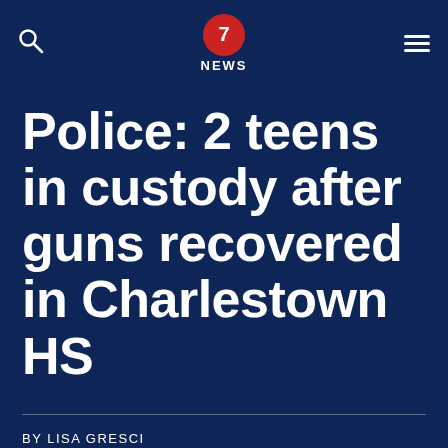7 NEWS
Police: 2 teens in custody after guns recovered in Charlestown HS
BY LISA GRESCI
MAY 19, 2022
Share